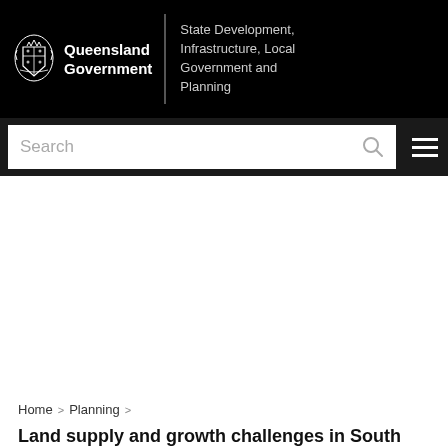Queensland Government | State Development, Infrastructure, Local Government and Planning
[Figure (screenshot): Search bar with magnifying glass icon and hamburger menu icon on dark background]
Home > Planning >
Land supply and growth challenges in South East Queensland